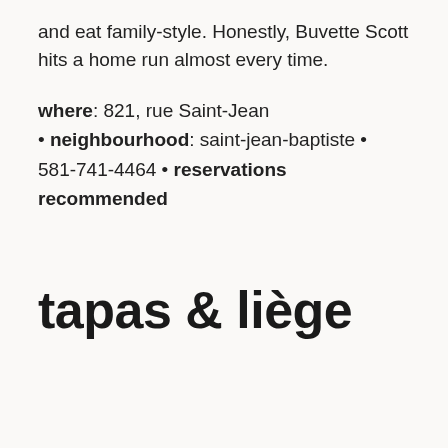and eat family-style. Honestly, Buvette Scott hits a home run almost every time.
where: 821, rue Saint-Jean • neighbourhood: saint-jean-baptiste • 581-741-4464 • reservations recommended
tapas & liège